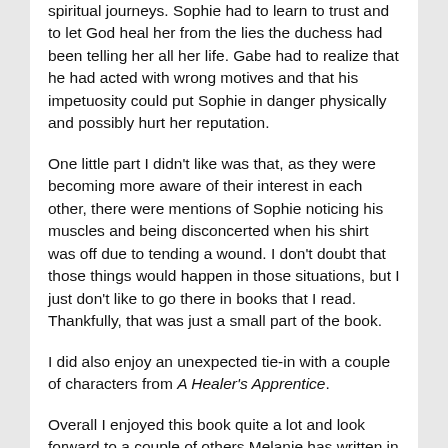spiritual journeys. Sophie had to learn to trust and to let God heal her from the lies the duchess had been telling her all her life. Gabe had to realize that he had acted with wrong motives and that his impetuosity could put Sophie in danger physically and possibly hurt her reputation.
One little part I didn't like was that, as they were becoming more aware of their interest in each other, there were mentions of Sophie noticing his muscles and being disconcerted when his shirt was off due to tending a wound. I don't doubt that those things would happen in those situations, but I just don't like to go there in books that I read. Thankfully, that was just a small part of the book.
I did also enjoy an unexpected tie-in with a couple of characters from A Healer's Apprentice.
Overall I enjoyed this book quite a lot and look forward to a couple of others Melanie has written in this same vein.
(This review will also be linked to Semicolon's Saturday